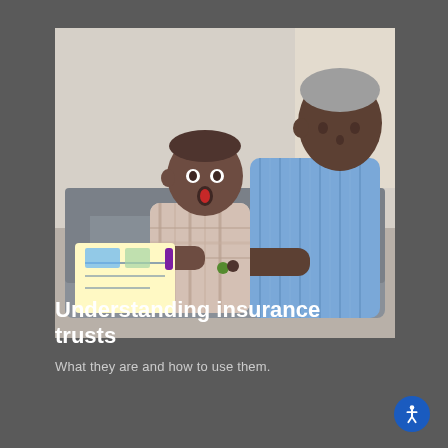[Figure (photo): An elderly man and a young toddler sitting on a grey sofa together, looking at a book or document. The child appears surprised or excited, with mouth open looking up at the man. The grandfather figure wearing a blue striped shirt is pointing at the book. The setting is an indoor living room.]
Understanding insurance trusts
What they are and how to use them.